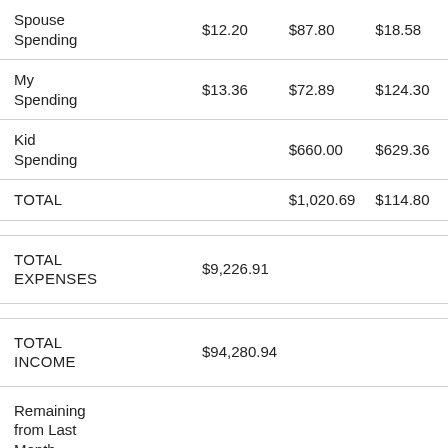| Category | Col1 | Col2 | Col3 |
| --- | --- | --- | --- |
| Spouse Spending | $12.20 | $87.80 | $18.58 |
| My Spending | $13.36 | $72.89 | $124.30 |
| Kid Spending |  | $660.00 | $629.36 |
| TOTAL |  | $1,020.69 | $114.80 |
| TOTAL EXPENSES | $9,226.91 |  |  |
| TOTAL INCOME | $94,280.94 |  |  |
| Remaining from Last Month |  |  |  |
| TOTAL |  |  |  |